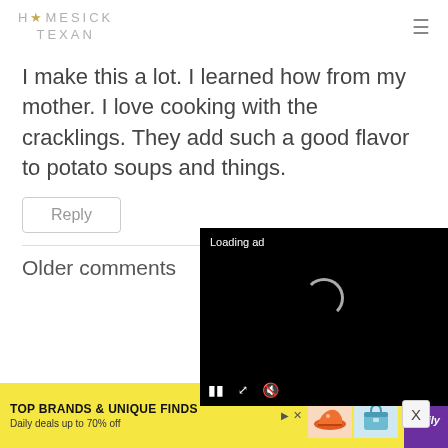HOMESICK TEXAN
I make this a lot. I learned how from my mother. I love cooking with the cracklings. They add such a good flavor to potato soups and things.
Reply
Older comments
[Figure (screenshot): Video ad overlay with black background, 'Loading ad' text, spinning loader, and media controls (pause, fullscreen, mute)]
[Figure (screenshot): Bottom banner advertisement: 'TOP BRANDS & UNIQUE FINDS — Daily deals up to 70% off' with shoe and bag images and Zulily branding]